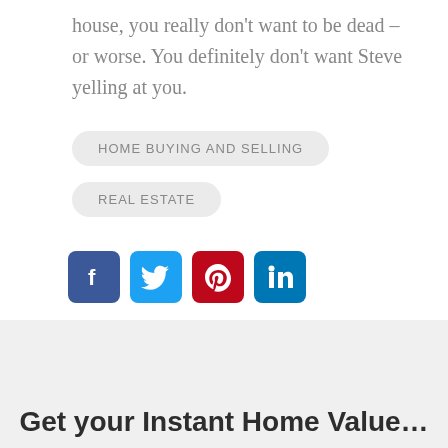house, you really don't want to be dead – or worse. You definitely don't want Steve yelling at you.
HOME BUYING AND SELLING
REAL ESTATE
[Figure (infographic): Four social media share icons: Facebook (blue), Twitter (light blue), Pinterest (red), LinkedIn (blue)]
Get your Instant Home Value...